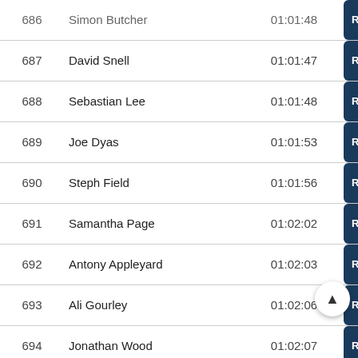| # | Name | Time |  |
| --- | --- | --- | --- |
| 686 | Simon Butcher | 01:01:48 | Results |
| 687 | David Snell | 01:01:47 | Results |
| 688 | Sebastian Lee | 01:01:48 | Results |
| 689 | Joe Dyas | 01:01:53 | Results |
| 690 | Steph Field | 01:01:56 | Results |
| 691 | Samantha Page | 01:02:02 | Results |
| 692 | Antony Appleyard | 01:02:03 | Results |
| 693 | Ali Gourley | 01:02:06 | Results |
| 694 | Jonathan Wood | 01:02:07 | Results |
| 695 | Paul Mcfegan | 01:02:13 | Results |
| 696 | Paula Mcintosh | 01:02:14 | Results |
| 697 | Craig Broadley | 01:02:15 | Results |
| 698 | Delvin Clarke-Williams | 01:02:15 | Re... |
| 699 | Pete Evans | 01:02:17 | Results |